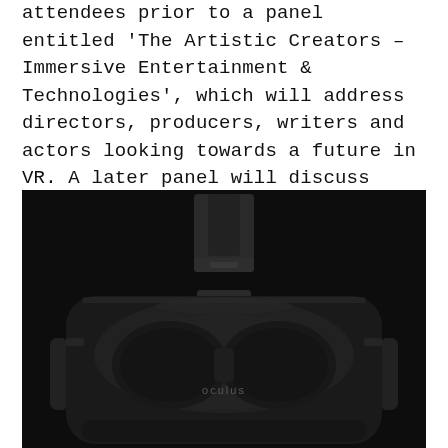attendees prior to a panel entitled 'The Artistic Creators – Immersive Entertainment & Technologies', which will address directors, producers, writers and actors looking towards a future in VR. A later panel will discuss 'The Content Inside VR &AR', specifically looking at advertising and education.
[Figure (photo): Dark product photo of an Oculus VR headset against a black background, showing the front face of the headset with Oculus branding and adjustment straps visible.]